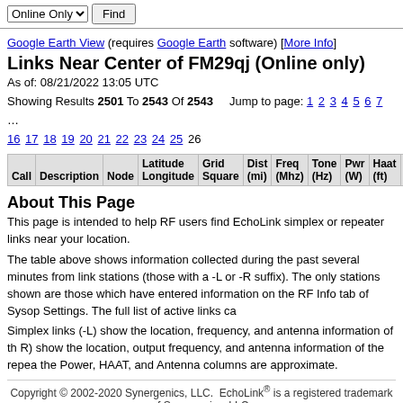Online Only  Find
Google Earth View (requires Google Earth software) [More Info]
Links Near Center of FM29qj (Online only)
As of: 08/21/2022 13:05 UTC
Showing Results 2501 To 2543 Of 2543   Jump to page: 1 2 3 4 5 6 7 ... 16 17 18 19 20 21 22 23 24 25 26
| Call | Description | Node | Latitude Longitude | Grid Square | Dist (mi) | Freq (Mhz) | Tone (Hz) | Pwr (W) | Haat (ft) | Ant |
| --- | --- | --- | --- | --- | --- | --- | --- | --- | --- | --- |
About This Page
This page is intended to help RF users find EchoLink simplex or repeater links near your location.
The table above shows information collected during the past several minutes from link stations (those with a -L or -R suffix). The only stations shown are those which have entered information on the RF Info tab of Sysop Settings. The full list of active links can be found here.
Simplex links (-L) show the location, frequency, and antenna information of the link. Repeater links (-R) show the location, output frequency, and antenna information of the repeater. Note that the Power, HAAT, and Antenna columns are approximate.
Copyright © 2002-2020 Synergenics, LLC.  EchoLink® is a registered trademark of Synergenics, LLC.